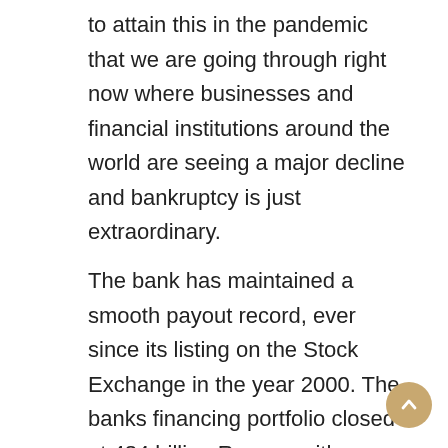to attain this in the pandemic that we are going through right now where businesses and financial institutions around the world are seeing a major decline and bankruptcy is just extraordinary.
The bank has maintained a smooth payout record, ever since its listing on the Stock Exchange in the year 2000. The banks financing portfolio closed at 484 billion Rupees with an ADR of 57%. The NPL ratio and NPL coverage ratio stood at 1.60% and 130% and The deposits of the bank grew by 7% to reach 842 billion Rupees.
The total operating income of the bank was increased by 55%, primarily due to continuous focus on maintaining the higher volume of earning assets